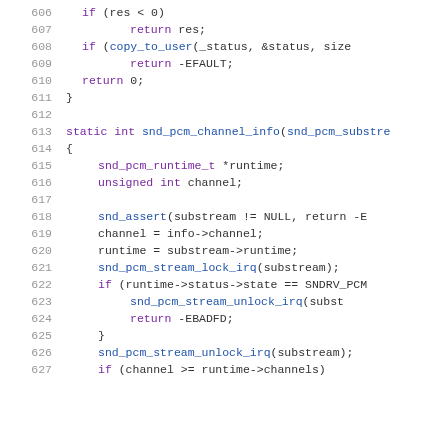[Figure (screenshot): Source code listing in C showing lines 606-627 of a Linux kernel PCM audio driver, with syntax highlighting. Purple for keywords, blue for function names, dark for operators and identifiers.]